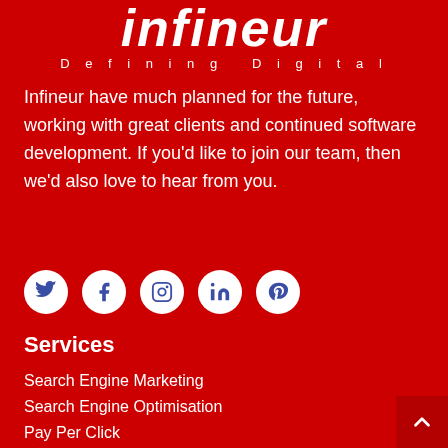[Figure (logo): Infineur logo with large stylized white italic text and tagline 'Defining Digital' on red background]
Infineur have much planned for the future, working with great clients and continued software development. If you'd like to join our team, then we'd also love to hear from you.
[Figure (infographic): Five social media icon buttons in white circles: Twitter, Facebook, Instagram, LinkedIn, Pinterest]
Services
Search Engine Marketing
Search Engine Optimisation
Pay Per Click